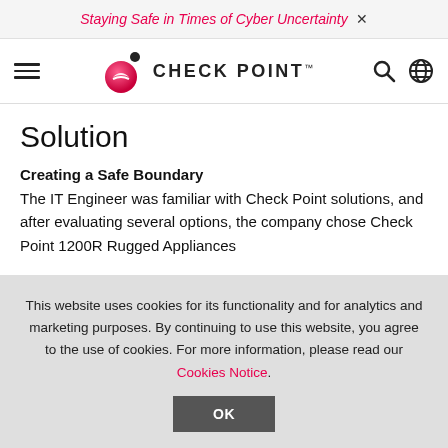Staying Safe in Times of Cyber Uncertainty ×
[Figure (logo): Check Point Software logo with pink/magenta sphere icon and CHECK POINT wordmark]
Solution
Creating a Safe Boundary
The IT Engineer was familiar with Check Point solutions, and after evaluating several options, the company chose Check Point 1200R Rugged Appliances
This website uses cookies for its functionality and for analytics and marketing purposes. By continuing to use this website, you agree to the use of cookies. For more information, please read our Cookies Notice.
OK